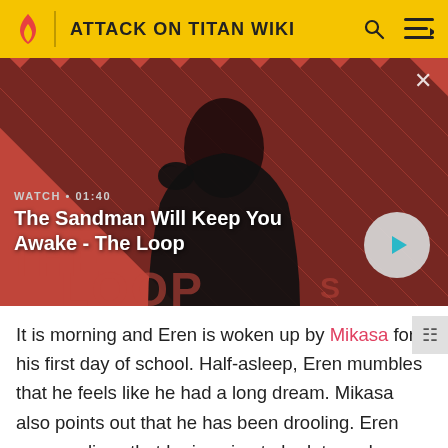ATTACK ON TITAN WIKI
[Figure (screenshot): Video thumbnail showing a dark-cloaked figure with a raven on their shoulder against a red striped background. Overlaid text reads: WATCH • 01:40 / The Sandman Will Keep You Awake - The Loop. A play button is visible at bottom right.]
It is morning and Eren is woken up by Mikasa for his first day of school. Half-asleep, Eren mumbles that he feels like he had a long dream. Mikasa also points out that he has been drooling. Eren soon realizes that he is going to be late and screams in panic. He and Mikasa hastily run